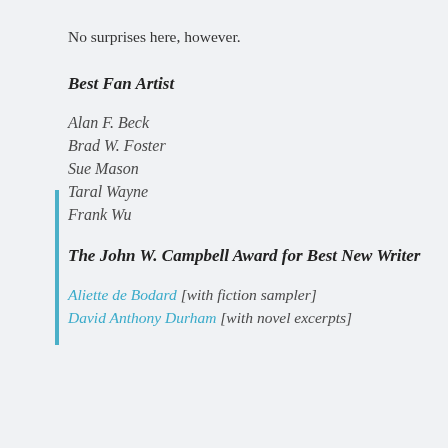No surprises here, however.
Best Fan Artist
Alan F. Beck
Brad W. Foster
Sue Mason
Taral Wayne
Frank Wu
The John W. Campbell Award for Best New Writer
Aliette de Bodard [with fiction sampler]
David Anthony Durham [with novel excerpts]